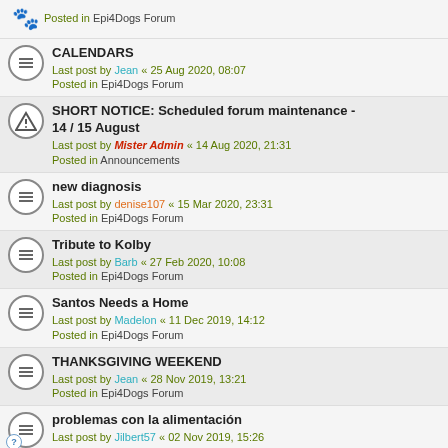Posted in Epi4Dogs Forum
CALENDARS
Last post by Jean « 25 Aug 2020, 08:07
Posted in Epi4Dogs Forum
SHORT NOTICE: Scheduled forum maintenance - 14 / 15 August
Last post by Mister Admin « 14 Aug 2020, 21:31
Posted in Announcements
new diagnosis
Last post by denise107 « 15 Mar 2020, 23:31
Posted in Epi4Dogs Forum
Tribute to Kolby
Last post by Barb « 27 Feb 2020, 10:08
Posted in Epi4Dogs Forum
Santos Needs a Home
Last post by Madelon « 11 Dec 2019, 14:12
Posted in Epi4Dogs Forum
THANKSGIVING WEEKEND
Last post by Jean « 28 Nov 2019, 13:21
Posted in Epi4Dogs Forum
problemas con la alimentación
Last post by Jilbert57 « 02 Nov 2019, 15:26
Posted in Epi4Dogs Forum
Search found 57 matches  1  2  3  >